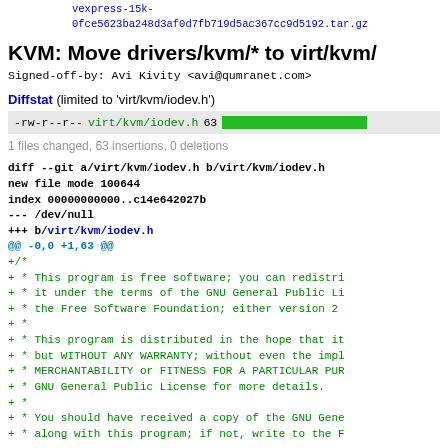download   vexpress-15k-0fce5623ba248d3af0d7fb719d5ac367cc9d5192.tar.gz
KVM: Move drivers/kvm/* to virt/kvm/
Signed-off-by: Avi Kivity <avi@qumranet.com>
Diffstat (limited to 'virt/kvm/iodev.h')
| permissions | file | lines | bar |
| --- | --- | --- | --- |
| -rw-r--r-- | virt/kvm/iodev.h | 63 | [graph] |
1 files changed, 63 insertions, 0 deletions
diff --git a/virt/kvm/iodev.h b/virt/kvm/iodev.h
new file mode 100644
index 00000000000..c14e642027b
--- /dev/null
+++ b/virt/kvm/iodev.h
@@ -0,0 +1,63 @@
+/*
+ * This program is free software; you can redistri
+ * it under the terms of the GNU General Public Li
+ * the Free Software Foundation; either version 2
+ *
+ * This program is distributed in the hope that it
+ * but WITHOUT ANY WARRANTY; without even the impl
+ * MERCHANTABILITY or FITNESS FOR A PARTICULAR PUR
+ * GNU General Public License for more details.
+ *
+ * You should have received a copy of the GNU Gene
+ * along with this program; if not, write to the F